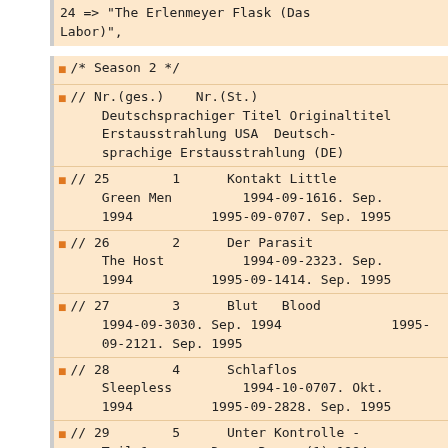24 => "The Erlenmeyer Flask (Das Labor)",
/* Season 2 */
// Nr.(ges.)    Nr.(St.)    Deutschsprachiger Titel Originaltitel    Erstausstrahlung USA  Deutsch-sprachige Erstausstrahlung (DE)
// 25        1      Kontakt Little Green Men         1994-09-1616. Sep. 1994          1995-09-0707. Sep. 1995
// 26        2      Der Parasit The Host          1994-09-2323. Sep. 1994          1995-09-1414. Sep. 1995
// 27        3      Blut   Blood 1994-09-3030. Sep. 1994              1995-09-2121. Sep. 1995
// 28        4      Schlaflos Sleepless         1994-10-0707. Okt. 1994          1995-09-2828. Sep. 1995
// 29        5      Unter Kontrolle - Teil 1       Duane Barry (1) 1994-10-1414. Okt. 1994           1995-10-0505. Okt. 1995
// 30        6      Seilbahn zu den Sternen - Teil 2   Ascension (2)